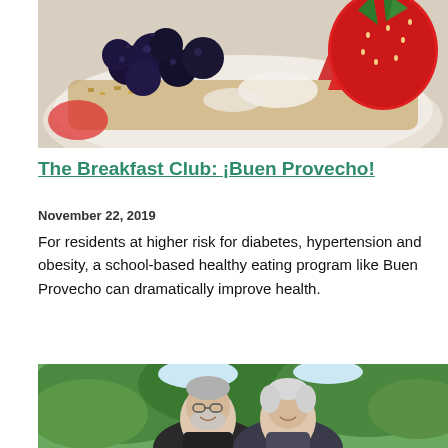[Figure (photo): Close-up photo of a bowl of fruit including blueberries, strawberries, and granola]
The Breakfast Club: ¡Buen Provecho!
November 22, 2019
For residents at higher risk for diabetes, hypertension and obesity, a school-based healthy eating program like Buen Provecho can dramatically improve health.
[Figure (photo): Two elderly men smiling outdoors with green trees in background]